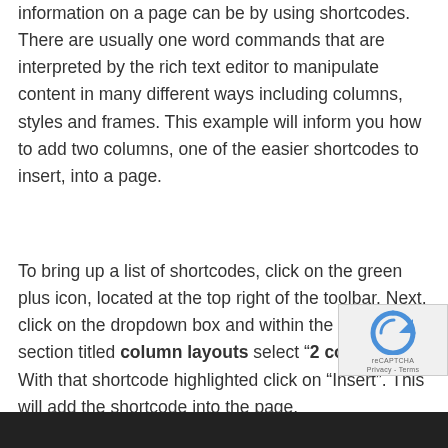information on a page can be by using shortcodes. There are usually one word commands that are interpreted by the rich text editor to manipulate content in many different ways including columns, styles and frames. This example will inform you how to add two columns, one of the easier shortcodes to insert, into a page.
To bring up a list of shortcodes, click on the green plus icon, located at the top right of the toolbar. Next, click on the dropdown box and within the second section titled column layouts select ‘2 columns’. With that shortcode highlighted click on “Insert”. This will add the shortcode into the page.